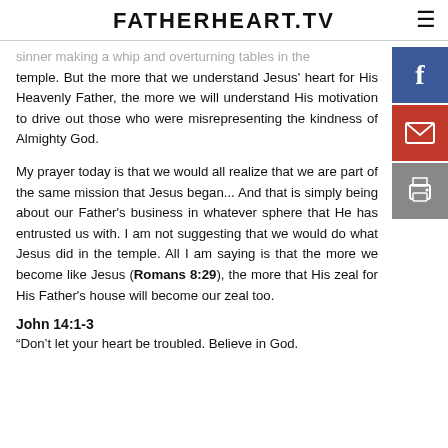FATHERHEART.TV
sinner making a whip and overturning tables in the temple. But the more that we understand Jesus' heart for His Heavenly Father, the more we will understand His motivation to drive out those who were misrepresenting the kindness of Almighty God.
My prayer today is that we would all realize that we are part of the same mission that Jesus began... And that is simply being about our Father's business in whatever sphere that He has entrusted us with. I am not suggesting that we would do what Jesus did in the temple. All I am saying is that the more we become like Jesus (Romans 8:29), the more that His zeal for His Father's house will become our zeal too.
John 14:1-3
“Don't let your heart be troubled. Believe in God.